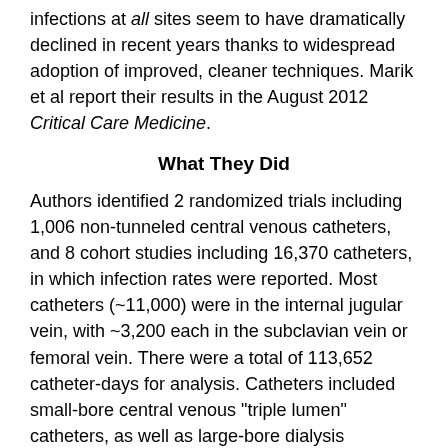infections at all sites seem to have dramatically declined in recent years thanks to widespread adoption of improved, cleaner techniques. Marik et al report their results in the August 2012 Critical Care Medicine.
What They Did
Authors identified 2 randomized trials including 1,006 non-tunneled central venous catheters, and 8 cohort studies including 16,370 catheters, in which infection rates were reported. Most catheters (~11,000) were in the internal jugular vein, with ~3,200 each in the subclavian vein or femoral vein. There were a total of 113,652 catheter-days for analysis. Catheters included small-bore central venous "triple lumen" catheters, as well as large-bore dialysis catheters.
What They Found
The average rate of catheter-related bloodstream infection was 2.5 per 1,000 catheter-days. (This translates to 1 infection for every 100 patients with a central line in place for 4 days.)